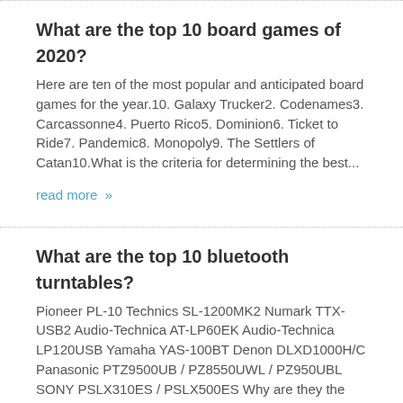What are the top 10 board games of 2020?
Here are ten of the most popular and anticipated board games for the year.10. Galaxy Trucker2. Codenames3. Carcassonne4. Puerto Rico5. Dominion6. Ticket to Ride7. Pandemic8. Monopoly9. The Settlers of Catan10.What is the criteria for determining the best...
read more »
What are the top 10 bluetooth turntables?
Pioneer PL-10 Technics SL-1200MK2 Numark TTX-USB2 Audio-Technica AT-LP60EK Audio-Technica LP120USB Yamaha YAS-100BT Denon DLXD1000H/C Panasonic PTZ9500UB / PZ8550UWL / PZ950UBL SONY PSLX310ES / PSLX500ES Why are they the top 10?There are many bluetooth...
read more »